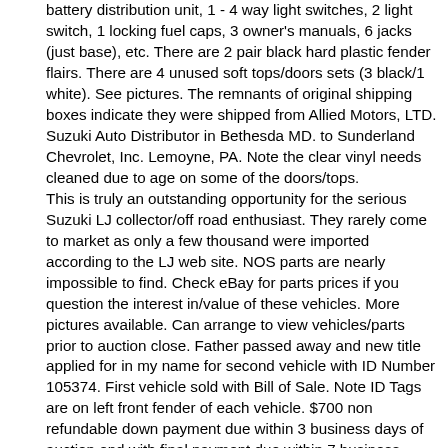battery distribution unit, 1 - 4 way light switches, 2 light switch, 1 locking fuel caps, 3 owner's manuals, 6 jacks (just base), etc. There are 2 pair black hard plastic fender flairs. There are 4 unused soft tops/doors sets (3 black/1 white). See pictures. The remnants of original shipping boxes indicate they were shipped from Allied Motors, LTD. Suzuki Auto Distributor in Bethesda MD. to Sunderland Chevrolet, Inc. Lemoyne, PA. Note the clear vinyl needs cleaned due to age on some of the doors/tops. This is truly an outstanding opportunity for the serious Suzuki LJ collector/off road enthusiast. They rarely come to market as only a few thousand were imported according to the LJ web site. NOS parts are nearly impossible to find. Check eBay for parts prices if you question the interest in/value of these vehicles. More pictures available. Can arrange to view vehicles/parts prior to auction close. Father passed away and new title applied for in my name for second vehicle with ID Number 105374. First vehicle sold with Bill of Sale. Note ID Tags are on left front fender of each vehicle. $700 non refundable down payment due within 3 business days of auction end with final payment due within 7 business days. All sales are final with no return. Ask questions before auction ends. Local pickup only. Will work with buyer's shipper to schedule pickup after payment clears. Vehicles are for sale locally and seller reserves right to end the auction if sold locally. Bid with